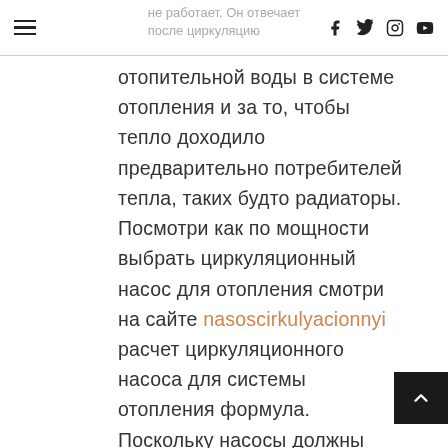не работает. Он отвечает после циркуляцию
отопительной воды в системе отопления и за то, чтобы тепло доходило предварительно потребителей тепла, таких будто радиаторы. Посмотри как по мощности выбрать циркуляционный насос для отопления смотри на сайте nasoscirkulyacionnyi расчет циркуляционного насоса для системы отопления формула. Поскольку насосы должны трудолюбивый накануне 5000 часов в год, они представляют собой одного